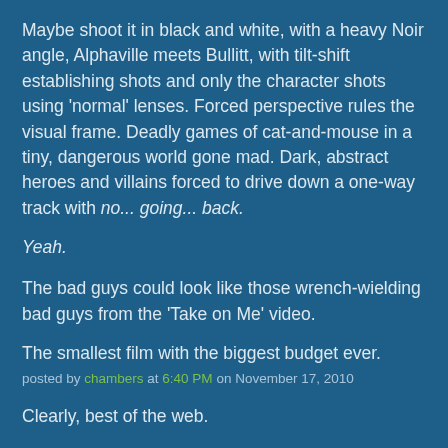Maybe shoot it in black and white, with a heavy Noir angle, Alphaville meets Bullitt, with tilt-shift establishing shots and only the character shots using 'normal' lenses. Forced perspective rules the visual frame. Deadly games of cat-and-mouse in a tiny, dangerous world gone mad. Dark, abstract heroes and villains forced to drive down a one-way track with no... going... back.
Yeah.
The bad guys could look like those wrench-wielding bad guys from the 'Take on Me' video.
The smallest film with the biggest budget ever.
posted by chambers at 6:40 PM on November 17, 2010
Clearly, best of the web.